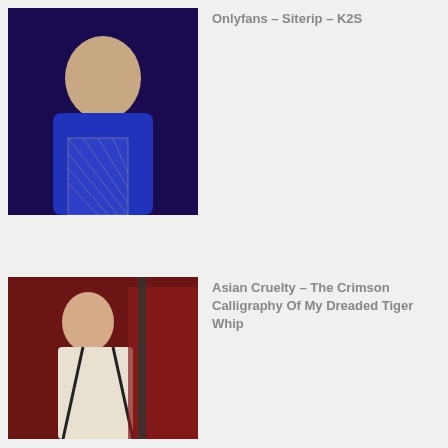[Figure (photo): Person in blue outfit with fishnet overlay, dark background]
Onlyfans – Siterip – K2S
[Figure (photo): Person in white outfit against red background]
Asian Cruelty – The Crimson Calligraphy Of My Dreaded Tiger Whip